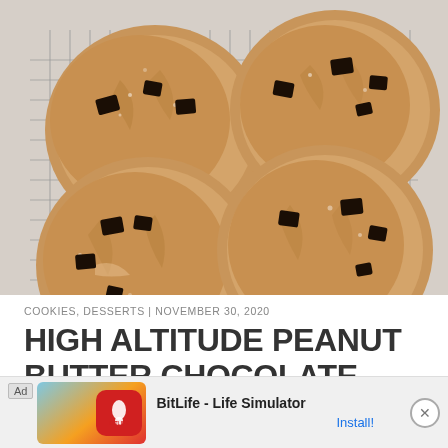[Figure (photo): Overhead photo of four large peanut butter chocolate chunk cookies on a wire cooling rack, showing crinkled tops with visible chocolate chunks and sugar coating.]
COOKIES, DESSERTS | NOVEMBER 30, 2020
HIGH ALTITUDE PEANUT BUTTER CHOCOLATE CHUNK COOKIES
[Figure (screenshot): Advertisement banner for BitLife - Life Simulator app with Install button and close X button.]